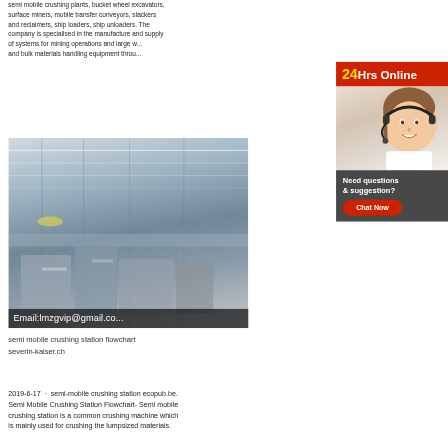semi mobile crushing plants, bucket wheel excavators, surface miners, mobile transfer conveyors, stackers and reclaimers, ship loaders, ship unloaders. The company is specialised in the manufacture and supply of systems for mining operations and large w... and bulk materials handling equipment throu...
[Figure (infographic): Red banner reading '24Hrs Online' with yellow '24' text, and a woman with headset customer service photo below, with a dark grey chat box reading 'Need questions & suggestion?' and a red 'Chat Now' button.]
[Figure (photo): Interior of a large industrial factory/manufacturing facility with overhead cranes and heavy equipment, with overlay text: Email:lmzgvip@gmail.co...]
semi mobile crushing station flowchart severin-kaiser.ch
2019-6-17 · semi-mobile crushing station ecopub.be. Semi Mobile Crushing Station Flowchart- Semi mobile crushing station is a common crushing machine which is mainly used for crushing the lumpsized materials.